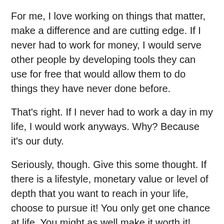For me, I love working on things that matter, make a difference and are cutting edge. If I never had to work for money, I would serve other people by developing tools they can use for free that would allow them to do things they have never done before.
That's right. If I never had to work a day in my life, I would work anyways. Why? Because it's our duty.
Seriously, though. Give this some thought. If there is a lifestyle, monetary value or level of depth that you want to reach in your life, choose to pursue it! You only get one chance at life. You might as well make it worth it!
Going Deeper